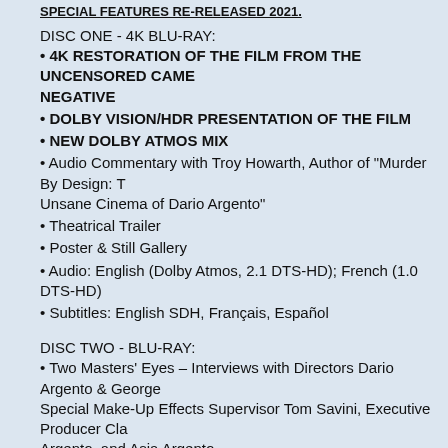SPECIAL FEATURES RE-RELEASED 2021.
DISC ONE - 4K BLU-RAY:
4K RESTORATION OF THE FILM FROM THE UNCENSORED CAMERA NEGATIVE
DOLBY VISION/HDR PRESENTATION OF THE FILM
NEW DOLBY ATMOS MIX
Audio Commentary with Troy Howarth, Author of "Murder By Design: The Unsane Cinema of Dario Argento"
Theatrical Trailer
Poster & Still Gallery
Audio: English (Dolby Atmos, 2.1 DTS-HD); French (1.0 DTS-HD)
Subtitles: English SDH, Français, Español
DISC TWO - BLU-RAY:
Two Masters' Eyes – Interviews with Directors Dario Argento & George Romero, Special Make-Up Effects Supervisor Tom Savini, Executive Producer Claudio Argento, and Asia Argento
Savini's EFX – A Behind-the-Scenes look at the film's Special Make-Up Effects
At Home With Tom Savini – A personal tour of Tom Savini's home
Adrienne Barbeau on George Romero
Before I Wake – Interview with Star Ramy Zada
Behind The Wall – Interview with Star Madeleine Potter
One Maestro And Two Masters – Interview with Composer Pino Donaggio
Rewriting Poe – Interview with Co-Writer Franco Ferrini
The Cut-Up – Wardrobe Director Interview with Assistant Director Luigi S…